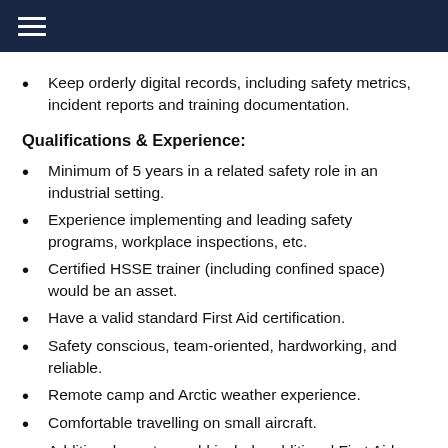Keep orderly digital records, including safety metrics, incident reports and training documentation.
Qualifications & Experience:
Minimum of 5 years in a related safety role in an industrial setting.
Experience implementing and leading safety programs, workplace inspections, etc.
Certified HSSE trainer (including confined space) would be an asset.
Have a valid standard First Aid certification.
Safety conscious, team-oriented, hardworking, and reliable.
Remote camp and Arctic weather experience.
Comfortable travelling on small aircraft.
Additional assets would include additional First Aid